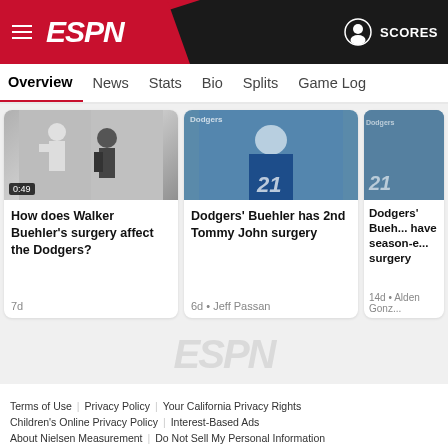ESPN — Menu | SCORES
Overview
News
Stats
Bio
Splits
Game Log
[Figure (screenshot): Video thumbnail of Walker Buehler pitching, with 0:49 timestamp overlay]
How does Walker Buehler's surgery affect the Dodgers?
7d
[Figure (photo): Photo of Dodgers player #21 in blue uniform]
Dodgers' Buehler has 2nd Tommy John surgery
6d • Jeff Passan
[Figure (photo): Photo of Dodgers player #21, partially cropped]
Dodgers' Bueh... have season-e... surgery
14d • Alden Gonz...
[Figure (logo): ESPN watermark logo in light gray]
Terms of Use | Privacy Policy | Your California Privacy Rights | Children's Online Privacy Policy | Interest-Based Ads | About Nielsen Measurement | Do Not Sell My Personal Information | Contact Us | Disney Ad Sales Site | Work for ESPN